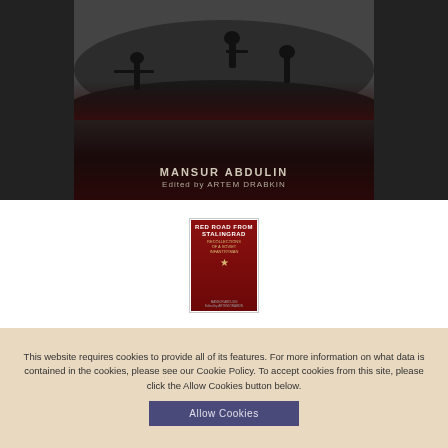[Figure (photo): Black and white wartime photograph of soldiers, with text overlay showing author name MANSUR ABDULIN and Edited by ARTEM DRABKIN]
[Figure (photo): Small book cover image for 'Red Road from Stalingrad: Recollections of a Soviet Infantryman' by Mansur Abdulin, edited by Artem Drabkin. Red cover with gold star.]
This website requires cookies to provide all of its features. For more information on what data is contained in the cookies, please see our Cookie Policy. To accept cookies from this site, please click the Allow Cookies button below.
Allow Cookies